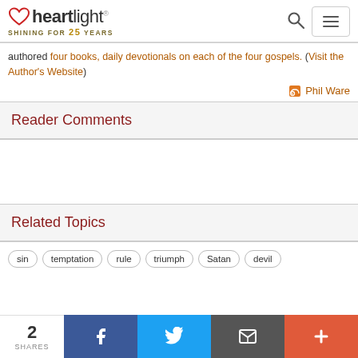heartlight® SHINING FOR 25 YEARS
authored four books, daily devotionals on each of the four gospels. (Visit the Author's Website)
Phil Ware
Reader Comments
Related Topics
sin
temptation
rule
triumph
Satan
devil
2 SHARES  Facebook  Twitter  Email  More